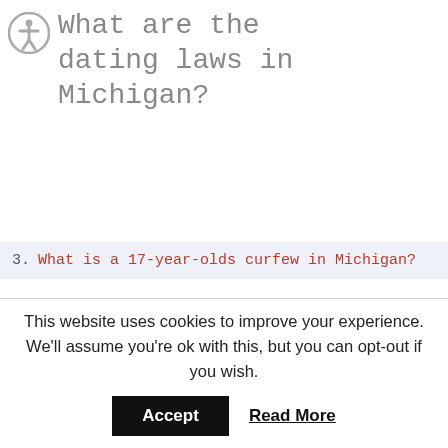What are the dating laws in Michigan?
3. What is a 17-year-olds curfew in Michigan?
In Michigan, a person must be at least 16 years old in order to engage in consensual sex with an adult. The legal age of consent in Michigan is 16 years old. Individuals who are 15 years old or younger in Michigan are not able to legally consent to sexual activity.
This website uses cookies to improve your experience. We'll assume you're ok with this, but you can opt-out if you wish.